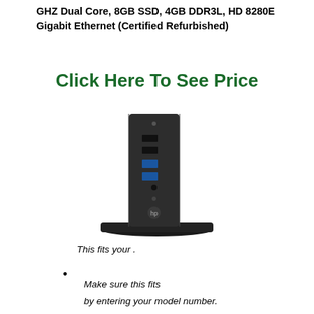GHZ Dual Core, 8GB SSD, 4GB DDR3L, HD 8280E Gigabit Ethernet (Certified Refurbished)
Click Here To See Price
[Figure (photo): HP thin client desktop computer standing vertically on a black stand, showing front panel with USB ports and HP logo]
This fits your .
Make sure this fits
by entering your model number.